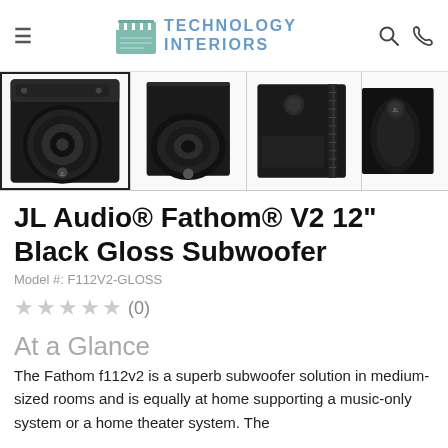Technology Interiors
[Figure (photo): Four product thumbnail images of JL Audio Fathom V2 12 inch Black Gloss Subwoofer from different angles]
JL Audio® Fathom® V2 12" Black Gloss Subwoofer
Model #: F112V2-GLOSS
★★★★★ (0)
At a Glance
The Fathom f112v2 is a superb subwoofer solution in medium-sized rooms and is equally at home supporting a music-only system or a home theater system. The